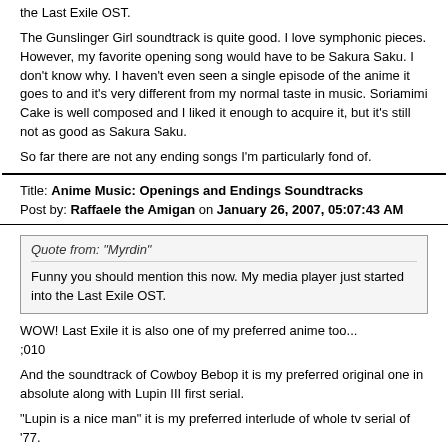the Last Exile OST.
The Gunslinger Girl soundtrack is quite good. I love symphonic pieces. However, my favorite opening song would have to be Sakura Saku. I don't know why. I haven't even seen a single episode of the anime it goes to and it's very different from my normal taste in music. Soriamimi Cake is well composed and I liked it enough to acquire it, but it's still not as good as Sakura Saku.
So far there are not any ending songs I'm particularly fond of.
Title: Anime Music: Openings and Endings Soundtracks
Post by: Raffaele the Amigan on January 26, 2007, 05:07:43 AM
Quote from: "Myrdin"
Funny you should mention this now. My media player just started into the Last Exile OST.
WOW! Last Exile it is also one of my preferred anime too...
;010
And the soundtrack of Cowboy Bebop it is my preferred original one in absolute along with Lupin III first serial.
"Lupin is a nice man" it is my preferred interlude of whole tv serial of '77.